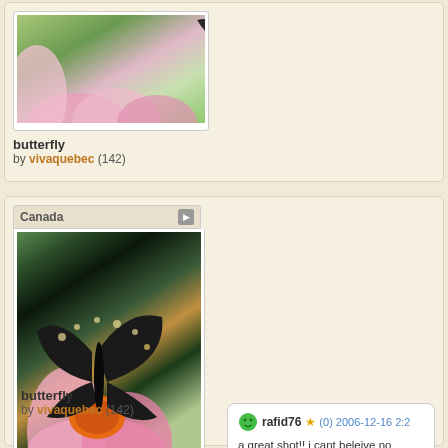[Figure (photo): Butterfly on pink flower, top portion cropped]
butterfly
by vivaquebec (142)
[Figure (photo): Black swallowtail butterfly on pink coneflower, Canada]
butterfly
by vivaquebec (142)
rafid76 (0) 2006-12-16 2:2... a great shot!! i cant beleive no points, but you this is fantastic semi macro. i live the understad how difficult it is to photograph done very sharp